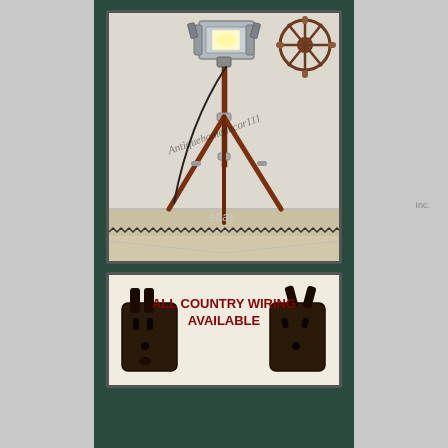[Figure (photo): A vintage/nautical style tripod floor lamp with a chrome spotlight head on a wooden tripod stand, displayed against a white wall. A ship's wheel decoration is visible in the upper right. Watermark text reads 'Antiquehomedecor111'. The eBay logo appears at the bottom of the photo.]
[Figure (photo): A banner image showing two electrical plugs (different country types) with bold red text reading 'ALL COUNTRY WIRING AVAILABLE']